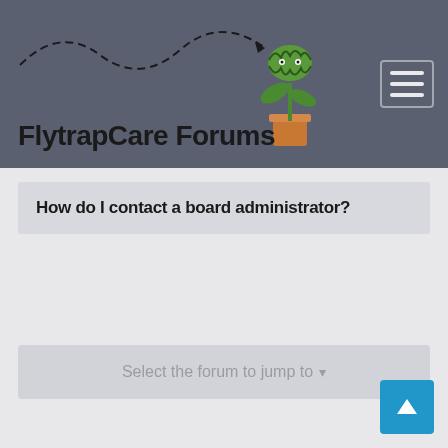FlytrapCare Forums
How do I contact a board administrator?
Select the forum to jump to